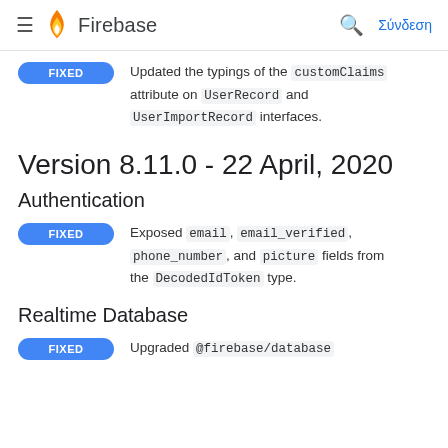Firebase — Σύνδεση
FIXED: Updated the typings of the customClaims attribute on UserRecord and UserImportRecord interfaces.
Version 8.11.0 - 22 April, 2020
Authentication
FIXED: Exposed email, email_verified, phone_number, and picture fields from the DecodedIdToken type.
Realtime Database
FIXED: Upgraded @firebase/database